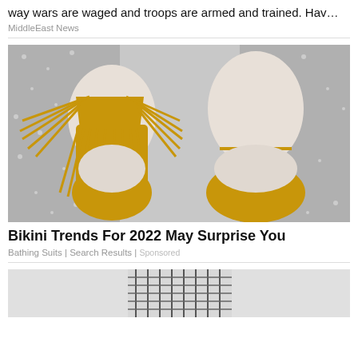way wars are waged and troops are armed and trained. Hav…
MiddleEast News
[Figure (photo): A mustard yellow fringe bikini set displayed on a mannequin against a sparkly silver background. The left side shows the front with long fringe details on the top, and the right side shows the back with a tie closure.]
Bikini Trends For 2022 May Surprise You
Bathing Suits | Search Results | Sponsored
[Figure (photo): Partial view of a building with striped facade, cropped at bottom of page.]